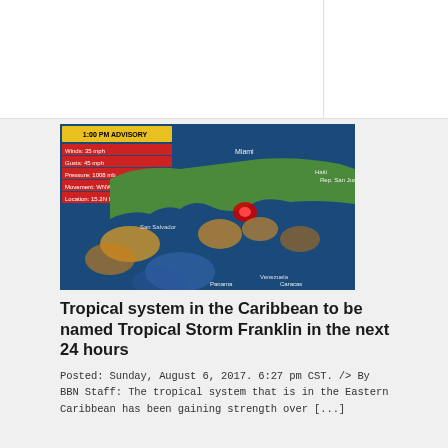[Figure (map): Weather advisory map showing tropical system in Caribbean with stats: Winds 35 mph, Gusts 45 mph, Pressure 1008 mb, Movement WNW at 12, Location 15.2N 81.9W]
Tropical system in the Caribbean to be named Tropical Storm Franklin in the next 24 hours
Posted: Sunday, August 6, 2017. 6:27 pm CST. /> By BBN Staff: The tropical system that is in the Eastern Caribbean has been gaining strength over [...]
Read more
[Figure (map): Five-Day Graphical Tropical Weather Outlook map from National Hurricane Center, Miami, Florida showing All Disturbances]